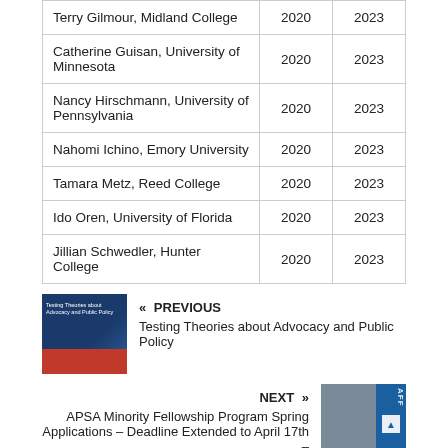| Name | Start | End |
| --- | --- | --- |
| Terry Gilmour, Midland College | 2020 | 2023 |
| Catherine Guisan, University of Minnesota | 2020 | 2023 |
| Nancy Hirschmann, University of Pennsylvania | 2020 | 2023 |
| Nahomi Ichino, Emory University | 2020 | 2023 |
| Tamara Metz, Reed College | 2020 | 2023 |
| Ido Oren, University of Florida | 2020 | 2023 |
| Jillian Schwedler, Hunter College | 2020 | 2023 |
[Figure (illustration): Book cover thumbnail for 'Testing Theories about Advocacy and Public Policy']
« PREVIOUS
Testing Theories about Advocacy and Public Policy
NEXT »
APSA Minority Fellowship Program Spring Applications – Deadline Extended to April 17th –
[Figure (photo): Photo thumbnail for APSA Minority Fellowship Program article]